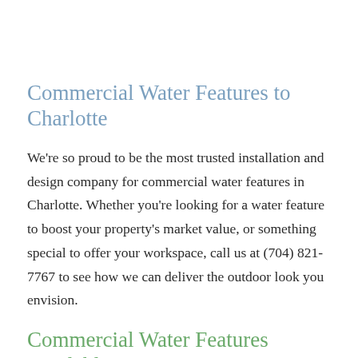Commercial Water Features to Charlotte
We're so proud to be the most trusted installation and design company for commercial water features in Charlotte. Whether you're looking for a water feature to boost your property's market value, or something special to offer your workspace, call us at (704) 821-7767 to see how we can deliver the outdoor look you envision.
Commercial Water Features Available
With so many water features available, the hardest decision for a business owner or manager in Charlotte might be